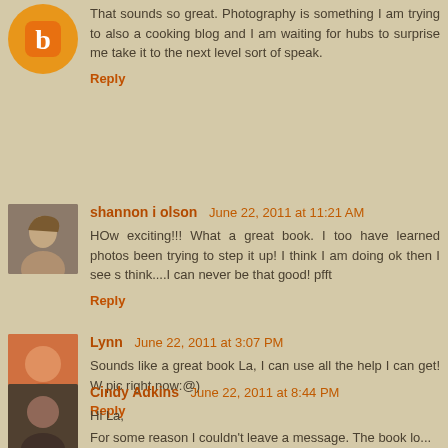That sounds so great. Photography is something I am trying to also a cooking blog and I am waiting for hubs to surprise me take it to the next level sort of speak.
Reply
shannon i olson  June 22, 2011 at 11:21 AM
HOw exciting!!! What a great book. I too have learned photos been trying to step it up! I think I am doing ok then I see s think....I can never be that good! pfft
Reply
Lynn  June 22, 2011 at 3:07 PM
Sounds like a great book La, I can use all the help I can get! W pic right now:@)
Reply
Cindy Adkins  June 22, 2011 at 8:44 PM
Hi La,
For some reason I couldn't leave a message. The book lo...